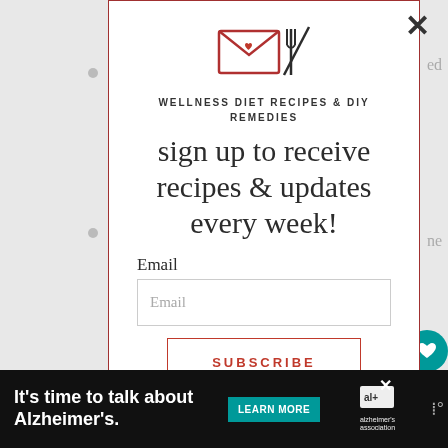[Figure (logo): Envelope with fork and knife crossing icon in red/dark red]
WELLNESS DIET RECIPES & DIY REMEDIES
sign up to receive recipes & updates every week!
Email
Email
SUBSCRIBE
You can easily unsubscribe from our mailing list at any
[Figure (infographic): Bottom advertisement bar: It's time to talk about Alzheimer's. LEARN MORE. alzheimer's association logo.]